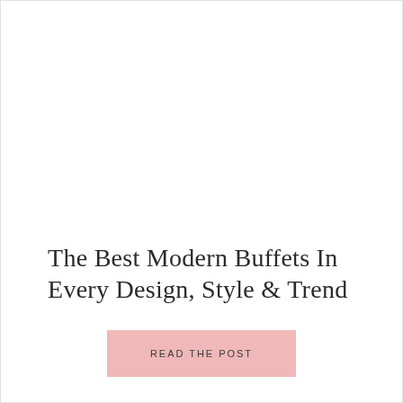The Best Modern Buffets In Every Design, Style & Trend
READ THE POST